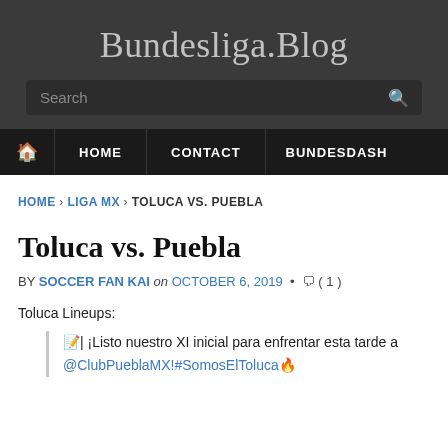Bundesliga.Blog
Search
HOME  CONTACT  BUNDESDASH
HOME › LIGA MX › TOLUCA VS. PUEBLA
Toluca vs. Puebla
BY SOCCER FAN KAI on OCTOBER 6, 2019 • ( 1 )
Toluca Lineups:
📝| ¡Listo nuestro XI inicial para enfrentar esta tarde a @ClubPueblaMX!#SomosElToluca🔥